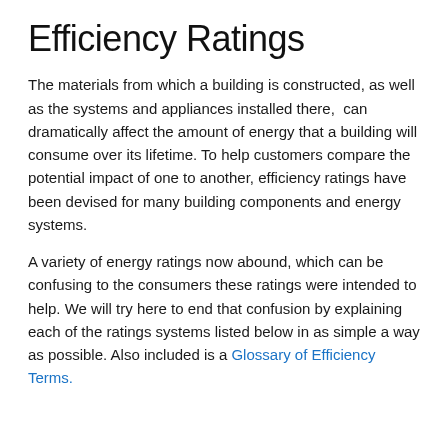Efficiency Ratings
The materials from which a building is constructed, as well as the systems and appliances installed there,  can dramatically affect the amount of energy that a building will consume over its lifetime. To help customers compare the potential impact of one to another, efficiency ratings have been devised for many building components and energy systems.
A variety of energy ratings now abound, which can be confusing to the consumers these ratings were intended to help. We will try here to end that confusion by explaining each of the ratings systems listed below in as simple a way as possible. Also included is a Glossary of Efficiency Terms.